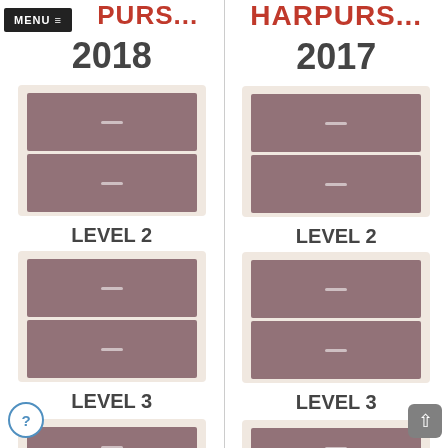MENU ≡ HARPURS... 2018
LEVEL 2
LEVEL 3
HARPURS... 2017
LEVEL 2
LEVEL 3